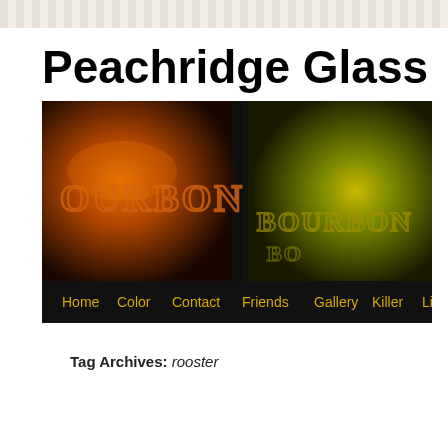Peachridge Glass
[Figure (photo): Close-up photograph of two antique glass bottles with embossed lettering reading BOURBON, one amber colored and one olive/yellow-green, against a dark background. Navigation bar at bottom with links: Home, Color, Contact, Friends, Gallery, Killer, Links, Pe...]
Tag Archives: rooster